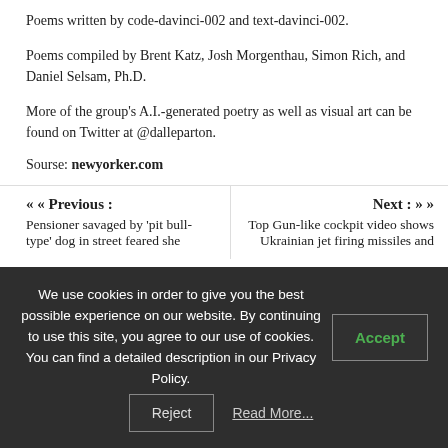Poems written by code-davinci-002 and text-davinci-002.
Poems compiled by Brent Katz, Josh Morgenthau, Simon Rich, and Daniel Selsam, Ph.D.
More of the group's A.I.-generated poetry as well as visual art can be found on Twitter at @dalleparton.
Sourse: newyorker.com
« Previous : Pensioner savaged by 'pit bull-type' dog in street feared she
Next » Top Gun-like cockpit video shows Ukrainian jet firing missiles and
We use cookies in order to give you the best possible experience on our website. By continuing to use this site, you agree to our use of cookies. You can find a detailed description in our Privacy Policy.
Accept
Reject
Read More...